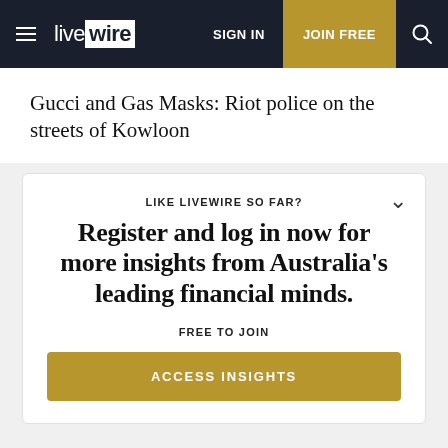livewire | SIGN IN | JOIN FREE
Gucci and Gas Masks: Riot police on the streets of Kowloon
LIKE LIVEWIRE SO FAR?
Register and log in now for more insights from Australia's leading financial minds.
FREE TO JOIN
ACCESS INSIGHTS